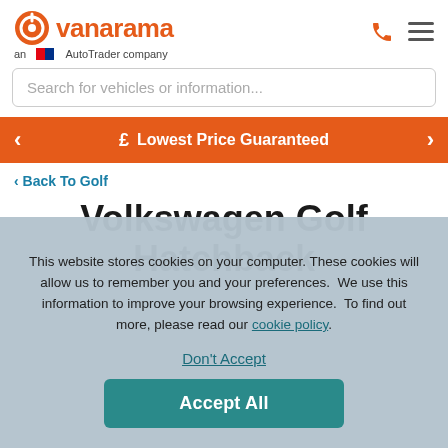[Figure (logo): Vanarama logo with orange circular icon, orange text 'vanarama', and subtitle 'an AutoTrader company']
[Figure (illustration): Phone icon (orange) and hamburger menu icon (dark) in the top right]
Search for vehicles or information...
£  Lowest Price Guaranteed
< Back To Golf
Volkswagen Golf Hatchback
This website stores cookies on your computer. These cookies will allow us to remember you and your preferences.  We use this information to improve your browsing experience.  To find out more, please read our cookie policy.
Don't Accept
Accept All